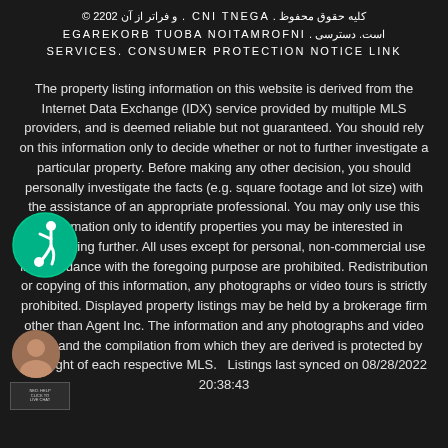کلیه حقوق محفوظ . AGENT INC . و فراتر از آن © 2022 است. دسترسی . INFORMATION ABOUT BROKERAGE SERVICES. CONSUMER PROTECTION NOTICE LINK
The property listing information on this website is derived from the Internet Data Exchange (IDX) service provided by multiple MLS providers, and is deemed reliable but not guaranteed. You should rely on this information only to decide whether or not to further investigate a particular property. Before making any other decision, you should personally investigate the facts (e.g. square footage and lot size) with the assistance of an appropriate professional. You may only use this information only to identify properties you may be interested in investigating further. All uses except for personal, non-commercial use in accordance with the foregoing purpose are prohibited. Redistribution or copying of this information, any photographs or video tours is strictly prohibited. Displayed property listings may be held by a brokerage firm other than Agent Inc. The information and any photographs and video tours and the compilation from which they are derived is protected by copyright of each respective MLS.   Listings last synced on 08/28/2022 20:38:43